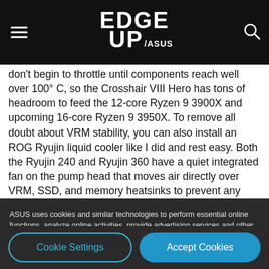EDGE UP / ASUS
don't begin to throttle until components reach well over 100° C, so the Crosshair VIII Hero has tons of headroom to feed the 12-core Ryzen 9 3900X and upcoming 16-core Ryzen 9 3950X. To remove all doubt about VRM stability, you can also install an ROG Ryujin liquid cooler like I did and rest easy. Both the Ryujin 240 and Ryujin 360 have a quiet integrated fan on the pump head that moves air directly over VRM, SSD, and memory heatsinks to prevent any thermal-related
ASUS uses cookies and similar technologies to perform essential online functions, analyze online activities, provide advertising services and other functions. For detailed information, please visit "Cookies and similar technologies".